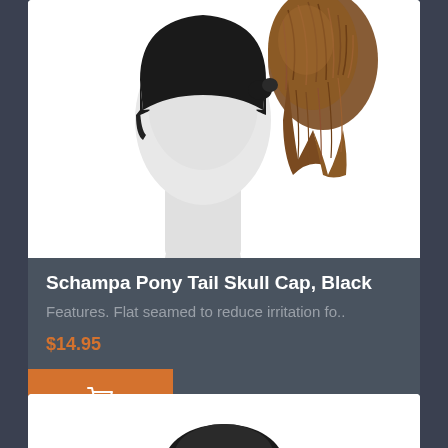[Figure (photo): Product photo of Schampa Pony Tail Skull Cap in Black, shown on a mannequin head with a brown fur ponytail attachment against white background]
Schampa Pony Tail Skull Cap, Black
Features. Flat seamed to reduce irritation fo..
$14.95
[Figure (photo): Partial view of a second product photo showing a dark/black item on white background, partially cut off at the bottom of the page]